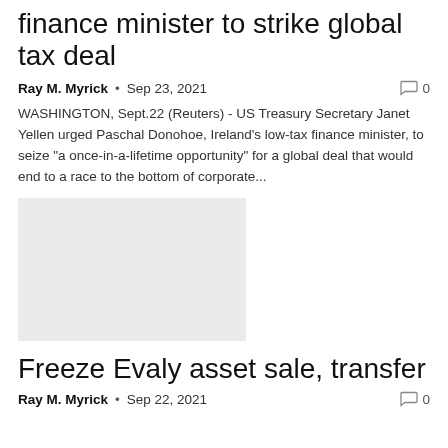finance minister to strike global tax deal
Ray M. Myrick  •  Sep 23, 2021   0
WASHINGTON, Sept.22 (Reuters) - US Treasury Secretary Janet Yellen urged Paschal Donohoe, Ireland's low-tax finance minister, to seize "a once-in-a-lifetime opportunity" for a global deal that would end to a race to the bottom of corporate...
[Figure (photo): Thumbnail image placeholder, light grey rectangle]
Freeze Evaly asset sale, transfer
Ray M. Myrick  •  Sep 22, 2021   0